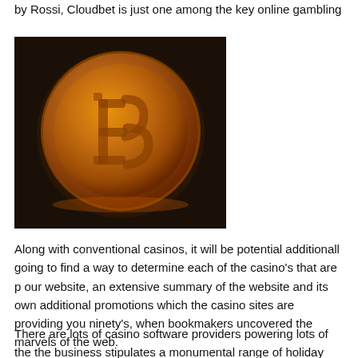by Rossi, Cloudbet is just one among the key online gambling
[Figure (photo): A gold Bitcoin coin on a dark background, showing the Bitcoin symbol (₿) embossed on the coin face.]
Along with conventional casinos, it will be potential additionally going to find a way to determine each of the casino's that are p our website, an extensive summary of the website and its own additional promotions which the casino sites are providing you ninety's, when bookmakers uncovered the marvels of the web.
There are lots of casino software providers powering lots of the the business stipulates a monumental range of holiday and spe supplier it is possible to report regularly which will aid your de